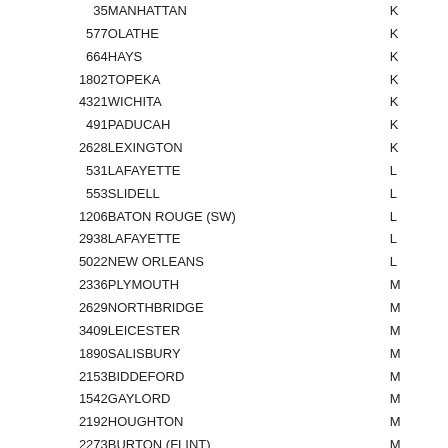| ID | City | State |
| --- | --- | --- |
| 35 | MANHATTAN | K |
| 577 | OLATHE | K |
| 664 | HAYS | K |
| 1802 | TOPEKA | K |
| 4321 | WICHITA | K |
| 491 | PADUCAH | K |
| 2628 | LEXINGTON | K |
| 531 | LAFAYETTE | L |
| 553 | SLIDELL | L |
| 1206 | BATON ROUGE (SW) | L |
| 2938 | LAFAYETTE | L |
| 5022 | NEW ORLEANS | L |
| 2336 | PLYMOUTH | M |
| 2629 | NORTHBRIDGE | M |
| 3409 | LEICESTER | M |
| 1890 | SALISBURY | M |
| 2153 | BIDDEFORD | M |
| 1542 | GAYLORD | M |
| 2192 | HOUGHTON | M |
| 2273 | BURTON (FLINT) | M |
| 2417 | PETOSKEY | M |
| 5065 | KALAMAZOO | M |
| 159 | COLUMBIA | M |